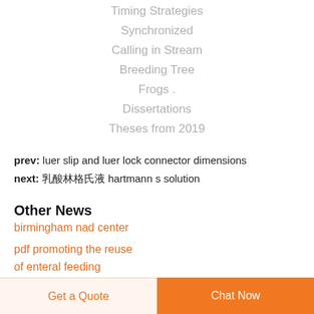Timing Strategies
Synchronized
Calling in Stream
Breeding Tree
Frogs .
Dissertations
Theses from 2019
prev: luer slip and luer lock connector dimensions
next: 乳酸林格氏液 hartmann s solution
Other News
birmingham nad center
pdf promoting the reuse of enteral feeding equipment in medical
Get a Quote
Chat Now